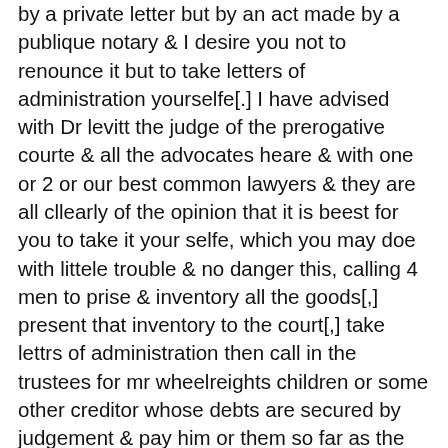by a private letter but by an act made by a publique notary & I desire you not to renounce it but to take letters of administration yourselfe[.] I have advised with Dr levitt the judge of the prerogative courte & all the advocates heare & with one or 2 or our best common lawyers & they are all cllearly of the opinion that it is beest for you to take it your selfe, which you may doe with littele trouble & no danger this, calling 4 men to prise & inventory all the goods[,] present that inventory to the court[,] take lettrs of administration then call in the trustees for mr wheelreights children or some other creditor whose debts are secured by judgement & pay him or them so far as the summe of the inventory does extend[,] then make your account to the court & it will give a plene administravit which will bee armor of proofe to defend yourself against all the suits that can bee brought[,] whosoever sues you first will not only cost him but make him pay all charges having administered & paid according to the rule of the law[.] John Abbay I hope hath